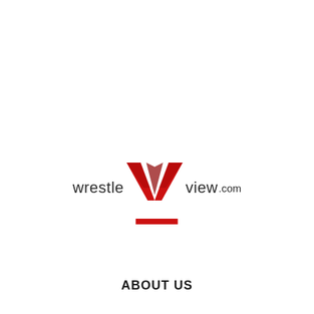[Figure (logo): WrestleView.com logo with red W emblem and red underline bar]
ABOUT US